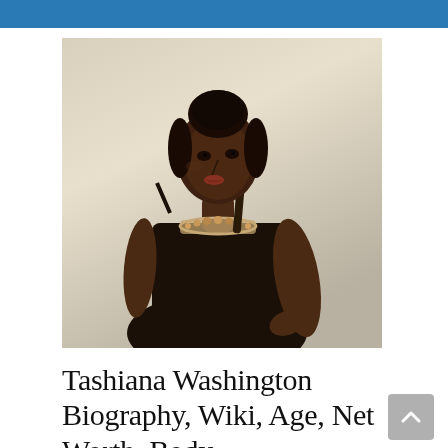[Figure (photo): A young woman with dark skin and hair in an updo, wearing a black strapless dress with a decorative beaded necklace, posed against a light background in a fashion/portrait style photo.]
Tashiana Washington Biography, Wiki, Age, Net Worth, Body Measurements &